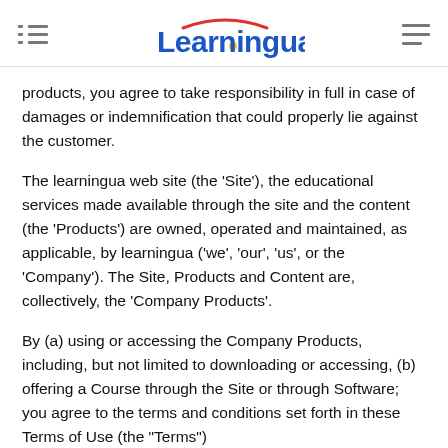Learningua
products, you agree to take responsibility in full in case of damages or indemnification that could properly lie against the customer.
The learningua web site (the 'Site'), the educational services made available through the site and the content (the 'Products') are owned, operated and maintained, as applicable, by learningua ('we', 'our', 'us', or the 'Company'). The Site, Products and Content are, collectively, the 'Company Products'.
By (a) using or accessing the Company Products, including, but not limited to downloading or accessing, (b) offering a Course through the Site or through Software; you agree to the terms and conditions set forth in these Terms of Use (the "Terms")
By using this website or its Products and Services, You